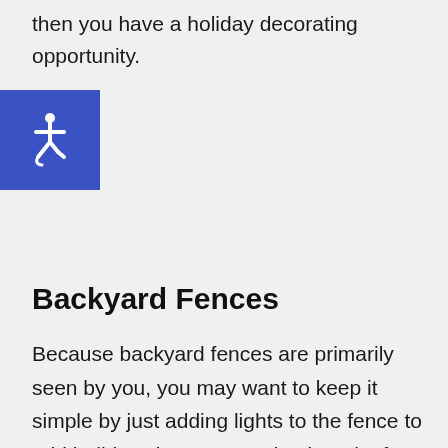then you have a holiday decorating opportunity.
[Figure (illustration): Blue accessibility wheelchair icon badge in top-left corner]
Backyard Fences
Because backyard fences are primarily seen by you, you may want to keep it simple by just adding lights to the fence to add holiday cheer to your backyard. If part of your fence can be seen from the street, you may wish to put lights on both sides so that both you and your neighbors can enjoy the holiday cheer.
Front Yard Fences